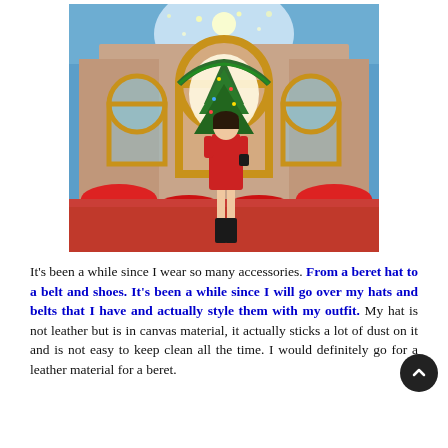[Figure (photo): A young woman in a red short dress and black boots stands on a red carpet in front of an elaborate Christmas-decorated building facade with arched windows, garlands, red poinsettias, and a large Christmas tree with bright lights in the background.]
It's been a while since I wear so many accessories. From a beret hat to a belt and shoes. It's been a while since I will go over my hats and belts that I have and actually style them with my outfit. My hat is not leather but is in canvas material, it actually sticks a lot of dust on it and is not easy to keep clean all the time. I would definitely go for a leather material for a beret.